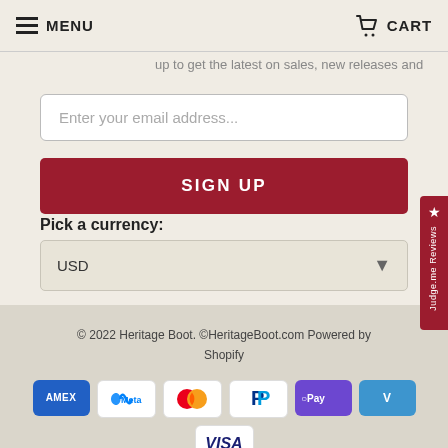MENU   CART
up to get the latest on sales, new releases and more...
Enter your email address...
SIGN UP
Pick a currency:
USD
© 2022 Heritage Boot. ©HeritageBoot.com Powered by Shopify
[Figure (other): Payment method icons: AMEX, Meta Pay, Mastercard, PayPal, Shop Pay, Venmo, Visa]